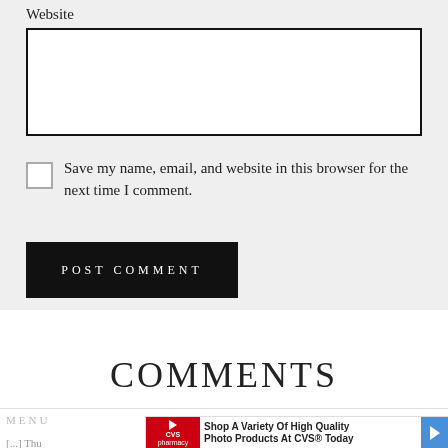Website
[Figure (other): Website text input field, empty, with black border]
[Figure (other): Unchecked checkbox]
Save my name, email, and website in this browser for the next time I comment.
[Figure (other): POST COMMENT button, black background, white uppercase text]
COMMENTS
MENU
[...] Thu
[Figure (other): CVS Pharmacy advertisement banner: Shop A Variety Of High Quality Photo Products At CVS® Today]
[...]